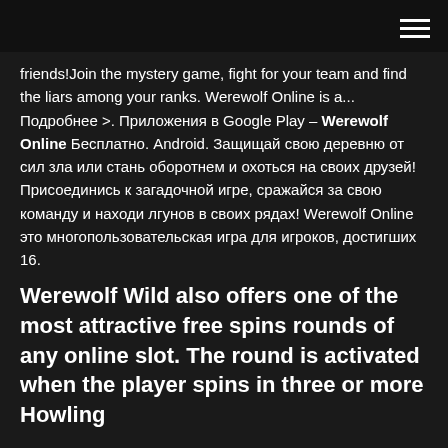[hamburger menu icon]
friends!Join the mystery game, fight for your team and find the liars among your ranks. Werewolf Online is a... Подробнее >. Приложения в Google Play – Werewolf Online Бесплатно. Android. Защищай свою деревню от сил зла или стань оборотнем и охоться на своих друзей! Присоединись к загадочной игре, сражайся за свою команду и находи лгунов в своих рядах! Werewolf Online это многопользовательская игра для игроков, достигших 16.
Werewolf Wild also offers one of the most attractive free spins rounds of any online slot. The round is activated when the player spins in three or more Howling